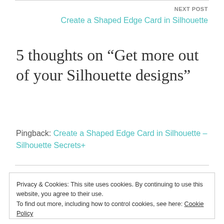NEXT POST
Create a Shaped Edge Card in Silhouette
5 thoughts on “Get more out of your Silhouette designs”
Pingback: Create a Shaped Edge Card in Silhouette – Silhouette Secrets+
Privacy & Cookies: This site uses cookies. By continuing to use this website, you agree to their use. To find out more, including how to control cookies, see here: Cookie Policy
Close and accept